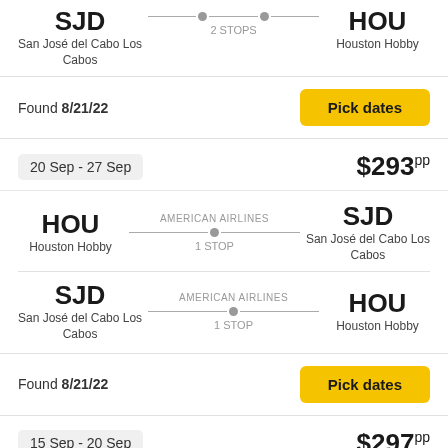SJD San José del Cabo Los Cabos → (2 STOPS) → Houston Hobby (cropped top)
Found 8/21/22
Pick dates
20 Sep - 27 Sep
$293pp
HOU Houston Hobby — AMERICAN AIRLINES — 1 STOP — SJD San José del Cabo Los Cabos
SJD San José del Cabo Los Cabos — AMERICAN AIRLINES — 1 STOP — HOU Houston Hobby
Found 8/21/22
Pick dates
15 Sep - 20 Sep
$297pp
HOU — AMERICAN AIRLINES — SJD (cropped bottom)